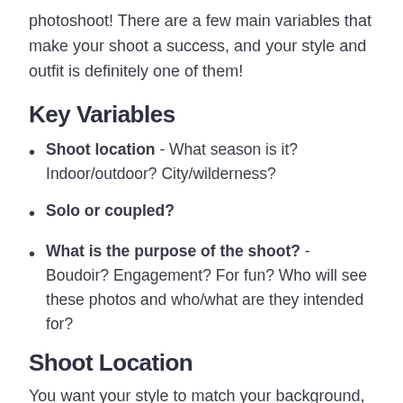photoshoot! There are a few main variables that make your shoot a success, and your style and outfit is definitely one of them!
Key Variables
Shoot location - What season is it? Indoor/outdoor? City/wilderness?
Solo or coupled?
What is the purpose of the shoot? - Boudoir? Engagement? For fun? Who will see these photos and who/what are they intended for?
Shoot Location
You want your style to match your background, and you